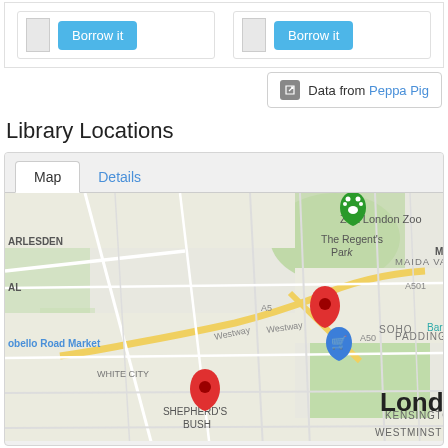[Figure (screenshot): Two 'Borrow it' blue buttons with book thumbnails in a white card panel at the top of the page]
Data from Peppa Pig
Library Locations
[Figure (map): Google Maps view of London showing Library Locations with two red pin markers (one near Shepherd's Bush/White City, one near The Regent's Park/Paddington), a green paw-print marker near ZSL London Zoo, and a blue shopping cart marker near Portobello Road Market. Map shows areas including ARLESDEN, MAIDA VALE, ZSL London Zoo, The Regent's Park, PADDINGTON, SOHO, Hyde Park, KENSINGTON, WHITE CITY, SHEPHERD'S BUSH, WESTMINSTER, and the label 'Lond'. Roads A50, A501 visible. 'Map' tab is active, 'Details' tab also shown.]